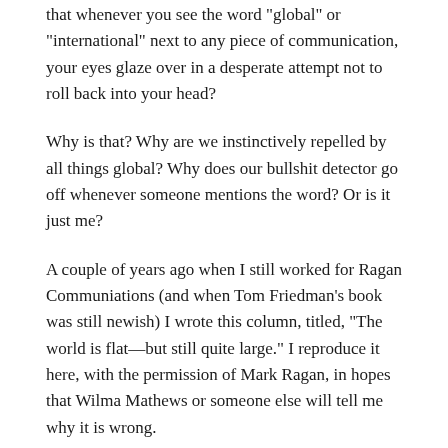that whenever you see the word "global" or "international" next to any piece of communication, your eyes glaze over in a desperate attempt not to roll back into your head?
Why is that? Why are we instinctively repelled by all things global? Why does our bullshit detector go off whenever someone mentions the word? Or is it just me?
A couple of years ago when I still worked for Ragan Communiations (and when Tom Friedman's book was still newish) I wrote this column, titled, "The world is flat—but still quite large." I reproduce it here, with the permission of Mark Ragan, in hopes that Wilma Mathews or someone else will tell me why it is wrong.